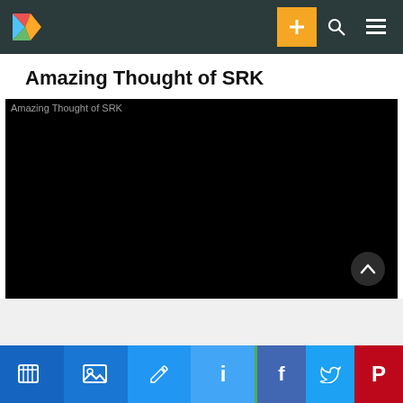Navigation bar with logo, plus button, search, and menu
Amazing Thought of SRK
[Figure (screenshot): Black video player area with alt text 'Amazing Thought of SRK' in the top-left and a scroll-up button (chevron) in the bottom-right]
Share bar with icons: video, image, edit, info, Facebook, Twitter, Pinterest